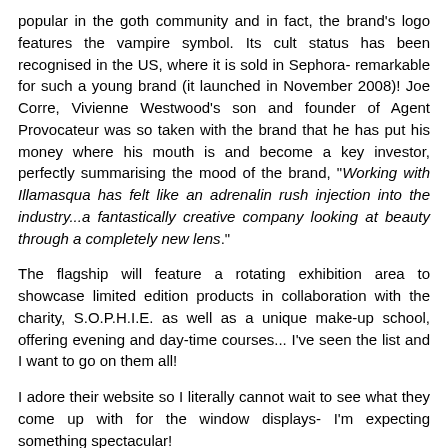popular in the goth community and in fact, the brand's logo features the vampire symbol. Its cult status has been recognised in the US, where it is sold in Sephora- remarkable for such a young brand (it launched in November 2008)! Joe Corre, Vivienne Westwood's son and founder of Agent Provocateur was so taken with the brand that he has put his money where his mouth is and become a key investor, perfectly summarising the mood of the brand, "Working with Illamasqua has felt like an adrenalin rush injection into the industry...a fantastically creative company looking at beauty through a completely new lens."
The flagship will feature a rotating exhibition area to showcase limited edition products in collaboration with the charity, S.O.P.H.I.E. as well as a unique make-up school, offering evening and day-time courses... I've seen the list and I want to go on them all!
I adore their website so I literally cannot wait to see what they come up with for the window displays- I'm expecting something spectacular!